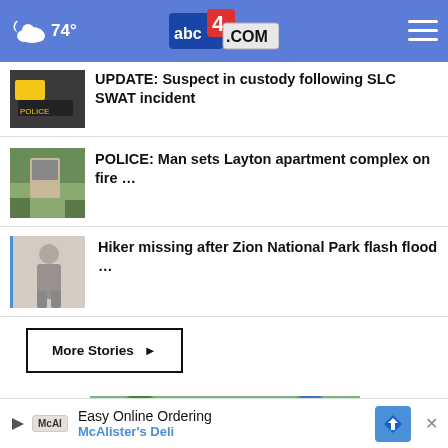74° abc4.com
UPDATE: Suspect in custody following SLC SWAT incident
POLICE: Man sets Layton apartment complex on fire …
Hiker missing after Zion National Park flash flood …
More Stories ▸
[Figure (photo): Advertisement image showing children with balloon hats]
Easy Online Ordering
McAlister's Deli